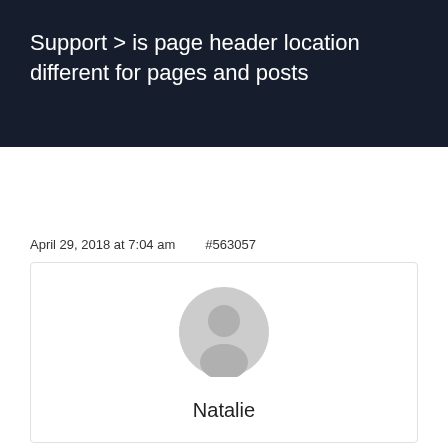Support > is page header location different for pages and posts
April 29, 2018 at 7:04 am    #563057
[Figure (illustration): Gray circular avatar icon showing a person silhouette]
Natalie